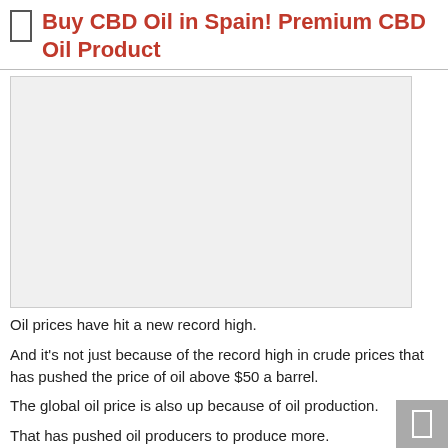Buy CBD Oil in Spain! Premium CBD Oil Product
[Figure (photo): Large image placeholder area showing a light gray rectangle, likely intended for a product or article image related to CBD oil.]
Oil prices have hit a new record high.
And it's not just because of the record high in crude prices that has pushed the price of oil above $50 a barrel.
The global oil price is also up because of oil production.
That has pushed oil producers to produce more.